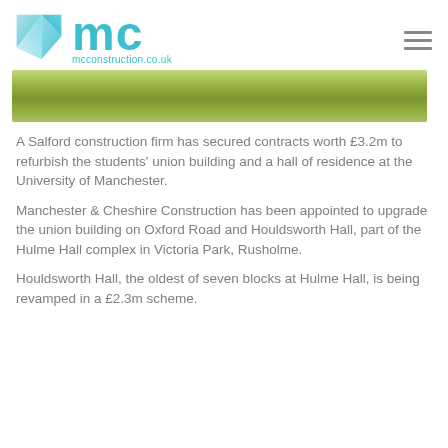[Figure (logo): MC Construction logo with teal diamond/kite shape and 'mc' text and mcconstruction.co.uk URL]
[Figure (photo): Horizontal banner photo of green grass/lawn area, partially cropped]
A Salford construction firm has secured contracts worth £3.2m to refurbish the students' union building and a hall of residence at the University of Manchester.
Manchester & Cheshire Construction has been appointed to upgrade the union building on Oxford Road and Houldsworth Hall, part of the Hulme Hall complex in Victoria Park, Rusholme.
Houldsworth Hall, the oldest of seven blocks at Hulme Hall, is being revamped in a £2.3m scheme.